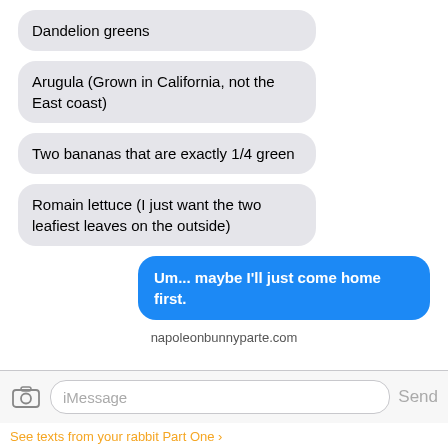Dandelion greens
Arugula (Grown in California, not the East coast)
Two bananas that are exactly 1/4 green
Romain lettuce (I just want the two leafiest leaves on the outside)
Um... maybe I'll just come home first.
napoleonbunnyparte.com
iMessage
Send
See texts from your rabbit Part One >